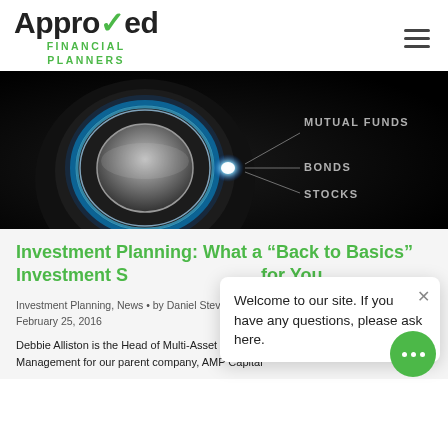Approved Financial Planners
[Figure (photo): Dark background image of a dial/knob with blue glowing ring, pointing to text labels: MUTUAL FUNDS, BONDS, STOCKS]
Investment Planning: What a “Back to Basics” Investment Strategy Can Do for You
Investment Planning, News • by Daniel Stevens – February 25, 2016
Debbie Alliston is the Head of Multi-Asset Portfolio Management for our parent company, AMP Capital